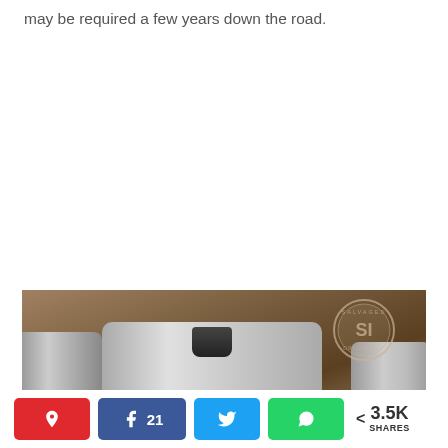may be required a few years down the road.
[Figure (photo): Top-down view of metal tin cans on a wooden surface, with a watermark logo overlay reading 'SI']
< 3.5K SHARES | Pin | Facebook 21 | Twitter | WhatsApp